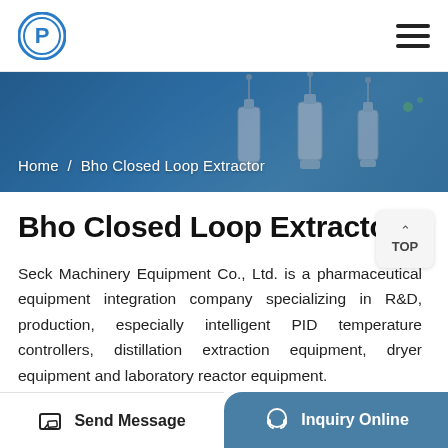[Figure (logo): Circular blue and white company logo with letter P]
Home / Bho Closed Loop Extractor
[Figure (photo): Hero banner photo showing multiple stainless steel closed loop extractor vessels on a blue background]
Bho Closed Loop Extractor
Seck Machinery Equipment Co., Ltd. is a pharmaceutical equipment integration company specializing in R&D, production, especially intelligent PID temperature controllers, distillation extraction equipment, dryer equipment and laboratory reactor equipment.
Send Message | Inquiry Online